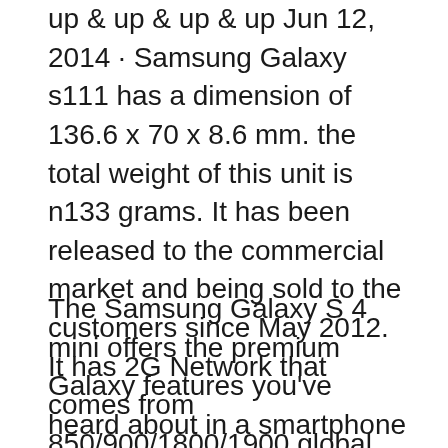up & up & up & up Jun 12, 2014 · Samsung Galaxy s111 has a dimension of 136.6 x 70 x 8.6 mm. the total weight of this unit is n133 grams. It has been released to the commercial market and being sold to the customers since May 2012. It has 2G Network that comes from 850/900/1800/1900 global system for ...
The Samsung Galaxy S 4 mini offers the premium Galaxy features you've heard about in a smartphone that's compact and easy to handle. Get it from Verizon. Faster & save online. Get it fast with In-Store Pickup or Same Day Delivery, plus reduced activation fees. Download user manual Samsung Galaxy S® America...